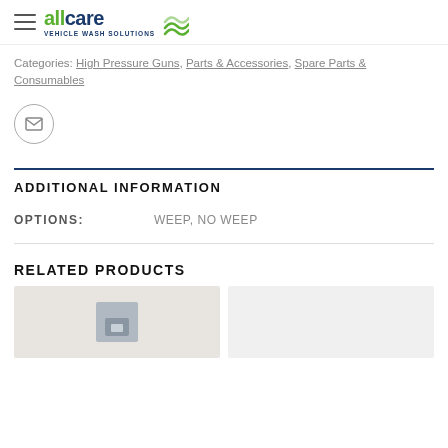AllCare Vehicle Wash Solutions
Categories: High Pressure Guns, Parts & Accessories, Spare Parts & Consumables
ADDITIONAL INFORMATION
| OPTIONS: |  |
| --- | --- |
| OPTIONS: | WEEP, NO WEEP |
RELATED PRODUCTS
[Figure (photo): Product thumbnail image showing a small metal component on a grey background]
[Figure (photo): Product thumbnail image, light/white background]